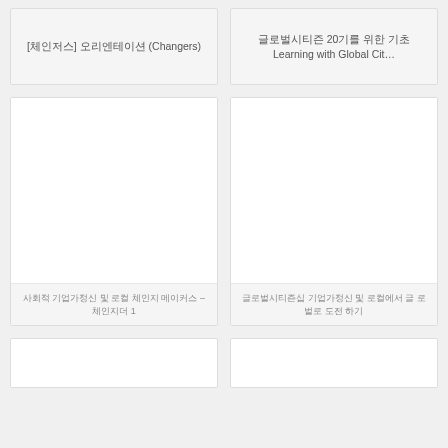[체인저스] 오리엔테이션 (Changers)
글로벌시티즌 20기를 위한 기초Learning with Global Cit…
[Figure (other): Blank white card image area (left middle)]
사회적 기업가정신 및 로컬 체인지 메이커스 – 체인지더 1
[Figure (other): Blank white card image area (right middle)]
글로벌시티즌십 기업가정신 및 로컬에서 글 로벌로 도전 하기
[Figure (other): Blank white card image area (bottom left, partial)]
[Figure (other): Blank white card image area (bottom right, partial)]